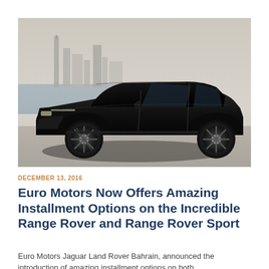[Figure (photo): A black Range Rover Sport SUV parked on a waterfront with a city skyline in the background under a hazy sky.]
DECEMBER 13, 2016
Euro Motors Now Offers Amazing Installment Options on the Incredible Range Rover and Range Rover Sport
Euro Motors Jaguar Land Rover Bahrain, announced the introduction of amazing installment options on both